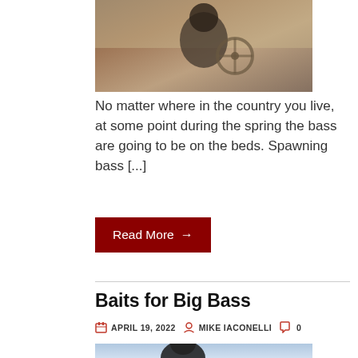[Figure (photo): Partial top image showing a person at a boat steering wheel, sepia/warm toned outdoor scene]
No matter where in the country you live, at some point during the spring the bass are going to be on the beds. Spawning bass [...]
Read More →
Baits for Big Bass
APRIL 19, 2022  MIKE IACONELLI  0
[Figure (photo): Person wearing dark beanie hat holding a large bass fish, outdoor winter scene]